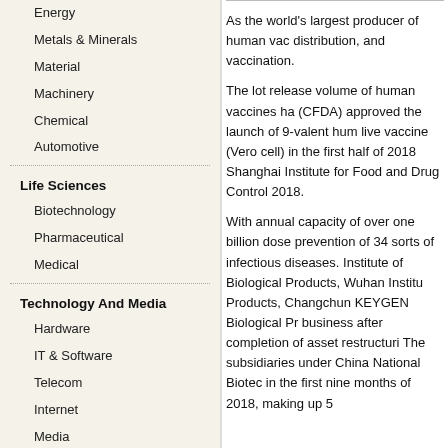Energy
Metals & Minerals
Material
Machinery
Chemical
Automotive
Life Sciences
Biotechnology
Pharmaceutical
Medical
Technology And Media
Hardware
IT & Software
Telecom
Internet
Media
Electronics
Public Sector
As the world's largest producer of human vac distribution, and vaccination.
The lot release volume of human vaccines ha (CFDA) approved the launch of 9-valent hum live vaccine (Vero cell) in the first half of 2018 Shanghai Institute for Food and Drug Control 2018.
With annual capacity of over one billion dose prevention of 34 sorts of infectious diseases. Institute of Biological Products, Wuhan Institu Products, Changchun KEYGEN Biological Pr business after completion of asset restructuri The subsidiaries under China National Biotec in the first nine months of 2018, making up 5